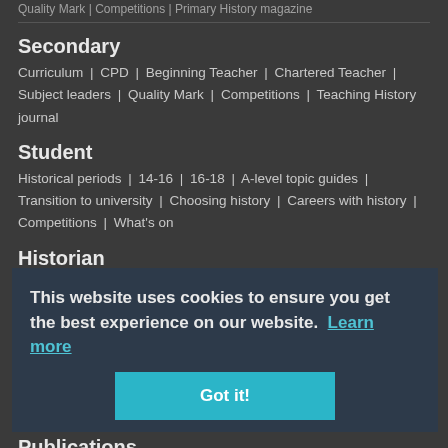Quality Mark | Competitions | Primary History magazine
Secondary
Curriculum | CPD | Beginning Teacher | Chartered Teacher | Subject leaders | Quality Mark | Competitions | Teaching History journal
Student
Historical periods | 14-16 | 16-18 | A-level topic guides | Transition to university | Choosing history | Careers with history | Competitions | What's on
Historian
The Historian magazine | Historical Periods | Themes | What's On | Reviews | Branches | Public history | Submit an event | Conference
Events
Event Calendar | Submit an event | What's On | Branch programmes | CPD | Sponsorship
Publications
Primary History | Teaching History | The Historian | History | Classic Pamphlets | HERI
This website uses cookies to ensure you get the best experience on our website. Learn more
Got it!